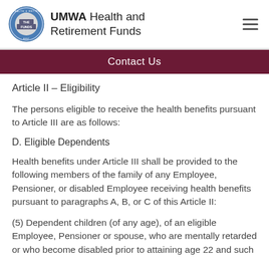UMWA Health and Retirement Funds
Contact Us
Article II – Eligibility
The persons eligible to receive the health benefits pursuant to Article III are as follows:
D. Eligible Dependents
Health benefits under Article III shall be provided to the following members of the family of any Employee, Pensioner, or disabled Employee receiving health benefits pursuant to paragraphs A, B, or C of this Article II:
(5) Dependent children (of any age), of an eligible Employee, Pensioner or spouse, who are mentally retarded or who become disabled prior to attaining age 22 and such